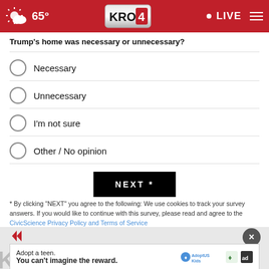KRON 4 — 65° — LIVE
Trump's home was necessary or unnecessary?
Necessary
Unnecessary
I'm not sure
Other / No opinion
NEXT *
* By clicking "NEXT" you agree to the following: We use cookies to track your survey answers. If you would like to continue with this survey, please read and agree to the CivicScience Privacy Policy and Terms of Service
[Figure (screenshot): Bottom portion of KRON 4 news website showing an ad overlay: 'Adopt a teen. You can't imagine the reward.' with AdoptUSKids logo, and partially visible KRON 4 Daily News text in large gray letters behind it. A dark close button (×) is visible.]